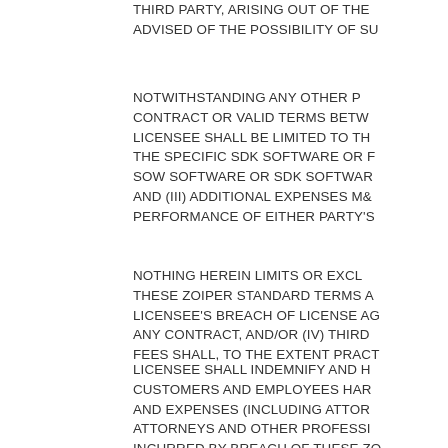THIRD PARTY, ARISING OUT OF THE... ADVISED OF THE POSSIBILITY OF SU...
NOTWITHSTANDING ANY OTHER P... CONTRACT OR VALID TERMS BETW... LICENSEE SHALL BE LIMITED TO TH... THE SPECIFIC SDK SOFTWARE OR F... SOW SOFTWARE OR SDK SOFTWAR... AND (III) ADDITIONAL EXPENSES MA... PERFORMANCE OF EITHER PARTY'S...
NOTHING HEREIN LIMITS OR EXCL... THESE ZOIPER STANDARD TERMS A... LICENSEE'S BREACH OF LICENSE AG... ANY CONTRACT, AND/OR (IV) THIRD... FEES SHALL, TO THE EXTENT PRACT...
LICENSEE SHALL INDEMNIFY AND H... CUSTOMERS AND EMPLOYEES HAR... AND EXPENSES (INCLUDING ATTOR... ATTORNEYS AND OTHER PROFESSI... INCURRED BY BREACH OF THESE ZO... THE PARTIES OR BY REASON OF AN... (INCLUDING BUT NOT LIMITED TO A... UTILIZING THE SOFTWARE, INCLU...